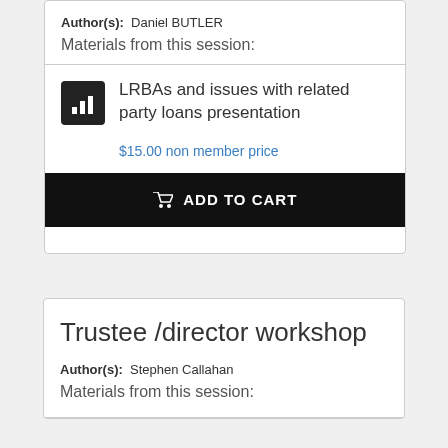Author(s): Daniel BUTLER
Materials from this session:
LRBAs and issues with related party loans presentation
$15.00 non member price
ADD TO CART
Trustee /director workshop
Author(s): Stephen Callahan
Materials from this session: